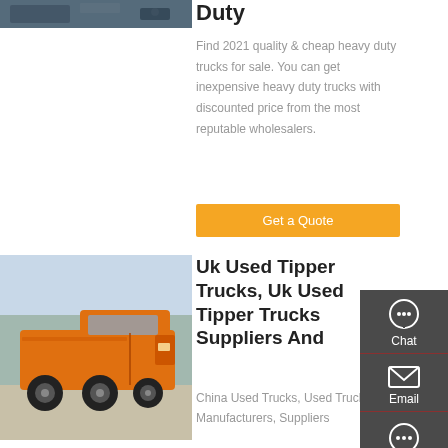[Figure (photo): Partial view of a truck cab, cropped at top of page]
Duty
Find 2021 quality & cheap heavy duty trucks for sale. You can get inexpensive heavy duty trucks with discounted price from the most reputable wholesalers.
Get a Quote
[Figure (photo): Orange heavy duty truck / tipper truck parked outdoors]
Uk Used Tipper Trucks, Uk Used Tipper Trucks Suppliers And
China Used Trucks, Used Trucks Manufacturers, Suppliers